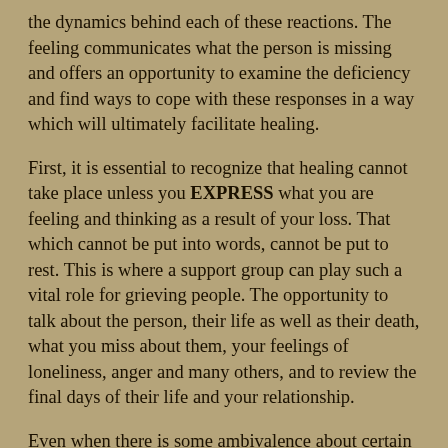the dynamics behind each of these reactions. The feeling communicates what the person is missing and offers an opportunity to examine the deficiency and find ways to cope with these responses in a way which will ultimately facilitate healing.
First, it is essential to recognize that healing cannot take place unless you EXPRESS what you are feeling and thinking as a result of your loss. That which cannot be put into words, cannot be put to rest. This is where a support group can play such a vital role for grieving people. The opportunity to talk about the person, their life as well as their death, what you miss about them, your feelings of loneliness, anger and many others, and to review the final days of their life and your relationship.
Even when there is some ambivalence about certain aspects of the life shared, it is important to verbalize your anger or your regret about what you